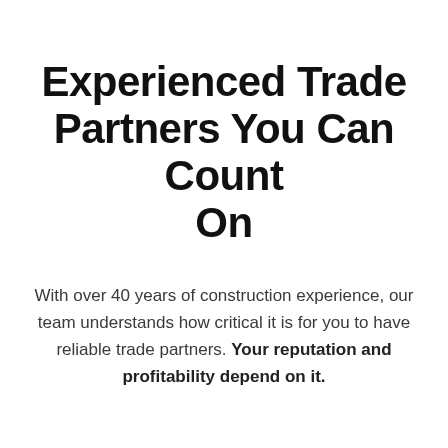Experienced Trade Partners You Can Count On
With over 40 years of construction experience, our team understands how critical it is for you to have reliable trade partners. Your reputation and profitability depend on it.